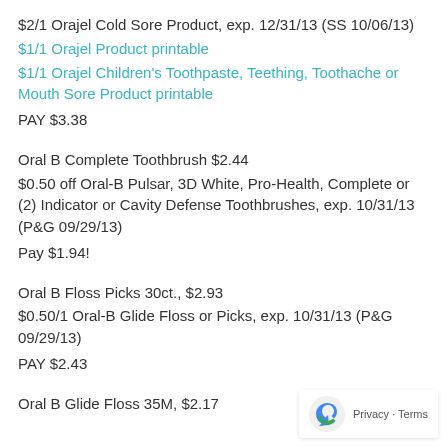$2/1 Orajel Cold Sore Product, exp. 12/31/13 (SS 10/06/13)
$1/1 Orajel Product printable
$1/1 Orajel Children's Toothpaste, Teething, Toothache or Mouth Sore Product printable
PAY $3.38
Oral B Complete Toothbrush $2.44
$0.50 off Oral-B Pulsar, 3D White, Pro-Health, Complete or (2) Indicator or Cavity Defense Toothbrushes, exp. 10/31/13 (P&G 09/29/13)
Pay $1.94!
Oral B Floss Picks 30ct., $2.93
$0.50/1 Oral-B Glide Floss or Picks, exp. 10/31/13 (P&G 09/29/13)
PAY $2.43
Oral B Glide Floss 35M, $2.17